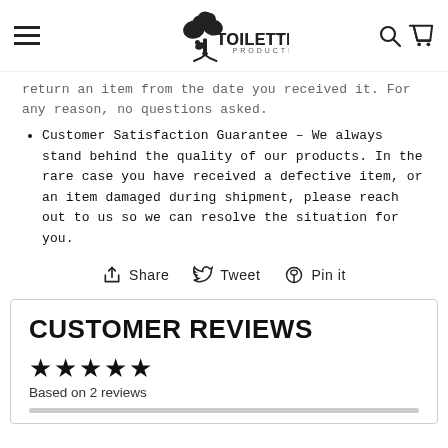ToiletTree Products – navigation header with hamburger menu, logo, search and cart icons
return an item from the date you received it. For any reason, no questions asked.
Customer Satisfaction Guarantee – We always stand behind the quality of our products. In the rare case you have received a defective item, or an item damaged during shipment, please reach out to us so we can resolve the situation for you.
Share   Tweet   Pin it
CUSTOMER REVIEWS
★★★★★
Based on 2 reviews